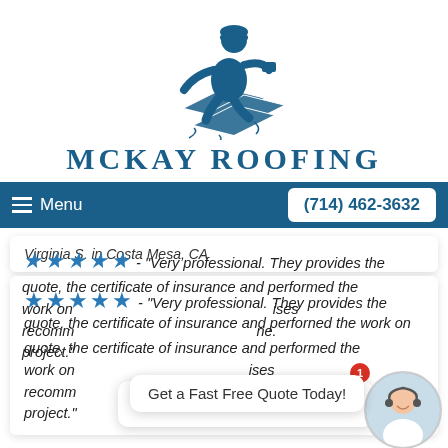[Figure (logo): McKay Roofing logo: blue illustration of a roofer kneeling and hammering roof tiles]
MCKAY ROOFING
Menu   (714) 462-3632
Virginia S. in Costa Mesa, CA
★★★★★ - "Very professional. They provides the quote, the certificate of insurance and performed the work on [schedule]. [Highly] recomm[ends] [...] me. project."
Get a Fast Free Quote Today!